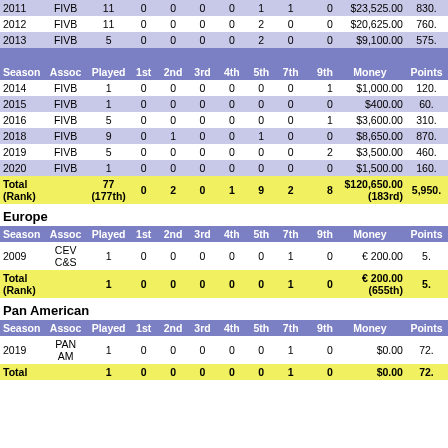| Season | Assoc | Played | 1st | 2nd | 3rd | 4th | 5th | 7th | 9th | Money | Points |
| --- | --- | --- | --- | --- | --- | --- | --- | --- | --- | --- | --- |
| 2011 | FIVB | 11 | 0 | 0 | 0 | 0 | 1 | 1 | 0 | $23,525.00 | 830. |
| 2012 | FIVB | 11 | 0 | 0 | 0 | 0 | 2 | 0 | 0 | $20,625.00 | 760. |
| 2013 | FIVB | 5 | 0 | 0 | 0 | 0 | 2 | 0 | 0 | $9,100.00 | 575. |
| Season | Assoc | Played | 1st | 2nd | 3rd | 4th | 5th | 7th | 9th | Money | Points |
| 2014 | FIVB | 1 | 0 | 0 | 0 | 0 | 0 | 0 | 1 | $1,000.00 | 120. |
| 2015 | FIVB | 1 | 0 | 0 | 0 | 0 | 0 | 0 | 0 | $400.00 | 60. |
| 2016 | FIVB | 5 | 0 | 0 | 0 | 0 | 0 | 0 | 1 | $3,600.00 | 310. |
| 2018 | FIVB | 9 | 0 | 1 | 0 | 0 | 1 | 0 | 0 | $8,650.00 | 870. |
| 2019 | FIVB | 5 | 0 | 0 | 0 | 0 | 0 | 0 | 2 | $3,500.00 | 460. |
| 2020 | FIVB | 1 | 0 | 0 | 0 | 0 | 0 | 0 | 0 | $1,500.00 | 160. |
| Total (Rank) |  | 77 (177th) | 0 | 2 | 0 | 1 | 9 | 2 | 8 | $120,650.00 (183rd) | 5,950. |
Europe
| Season | Assoc | Played | 1st | 2nd | 3rd | 4th | 5th | 7th | 9th | Money | Points |
| --- | --- | --- | --- | --- | --- | --- | --- | --- | --- | --- | --- |
| 2009 | CEV C&S | 1 | 0 | 0 | 0 | 0 | 0 | 1 | 0 | € 200.00 | 5. |
| Total (Rank) |  | 1 | 0 | 0 | 0 | 0 | 0 | 1 | 0 | € 200.00 (655th) | 5. |
Pan American
| Season | Assoc | Played | 1st | 2nd | 3rd | 4th | 5th | 7th | 9th | Money | Points |
| --- | --- | --- | --- | --- | --- | --- | --- | --- | --- | --- | --- |
| 2019 | PAN AM | 1 | 0 | 0 | 0 | 0 | 0 | 1 | 0 | $0.00 | 72. |
| Total |  | 1 | 0 | 0 | 0 | 0 | 0 | 1 | 0 | $0.00 | 72. |